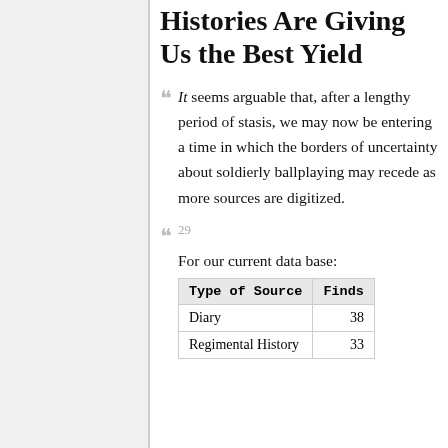Histories Are Giving Us the Best Yield
It seems arguable that, after a lengthy period of stasis, we may now be entering a time in which the borders of uncertainty about soldierly ballplaying may recede as more sources are digitized.
29
For our current data base:
| Type of Source | Finds |
| --- | --- |
| Diary | 38 |
| Regimental History | 33 |